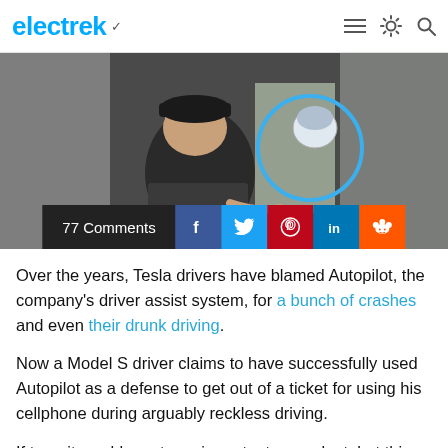electrek
[Figure (photo): Video still showing a Tesla driver in the car seat, with a blue circle highlighting a motorcyclist or cyclist visible through the window. The image is blurry/video-quality.]
77 Comments
Over the years, Tesla drivers have blamed Autopilot, the company's driver assist system, for a bunch of crashes and even their drunk driving.
Now a Model S driver claims to have successfully used Autopilot as a defense to get out of a ticket for using his cellphone during arguably reckless driving.
If true, it would create an important precedent, but things are more complicated than they seem.